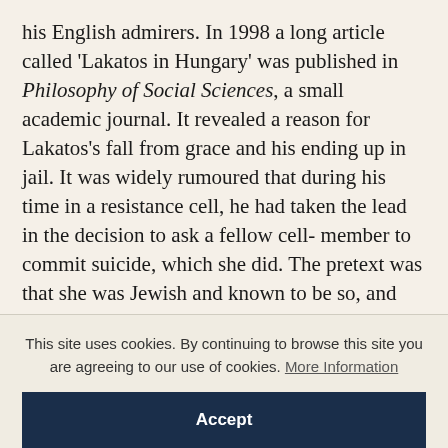his English admirers. In 1998 a long article called 'Lakatos in Hungary' was published in Philosophy of Social Sciences, a small academic journal. It revealed a reason for Lakatos's fall from grace and his ending up in jail. It was widely rumoured that during his time in a resistance cell, he had taken the lead in the decision to ask a fellow cell-member to commit suicide, which she did. The pretext was that she was Jewish and known to be so, and that when apprehended she would, under torture, give the members of the cell away; thus
This site uses cookies. By continuing to browse this site you are agreeing to our use of cookies. More Information
Accept